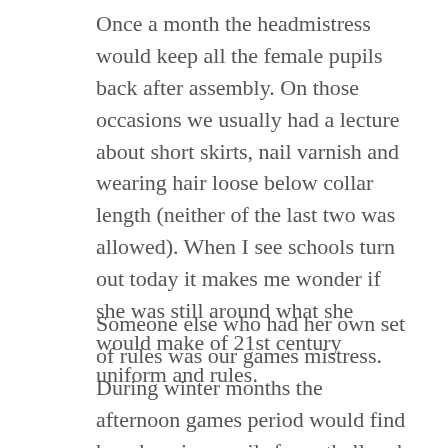Once a month the headmistress would keep all the female pupils back after assembly. On those occasions we usually had a lecture about short skirts, nail varnish and wearing hair loose below collar length (neither of the last two was allowed). When I see schools turn out today it makes me wonder if she was still around what she would make of 21st century uniform and rules.
Someone else who had her own set of rules was our games mistress.  During winter months the afternoon games period would find her choosing pupils for netball and hockey teams and those left over were sent out with the boys on a cross country run.  No gloves, no scarves but at least we got to keep our jumpers on!  The